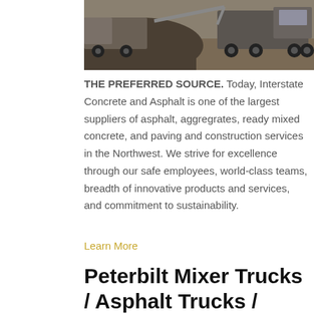[Figure (photo): Construction site with large trucks and earthmoving equipment, dark and dusty environment]
THE PREFERRED SOURCE. Today, Interstate Concrete and Asphalt is one of the largest suppliers of asphalt, aggregrates, ready mixed concrete, and paving and construction services in the Northwest. We strive for excellence through our safe employees, world-class teams, breadth of innovative products and services, and commitment to sustainability.
Learn More
Peterbilt Mixer Trucks / Asphalt Trucks / Concrete Trucks